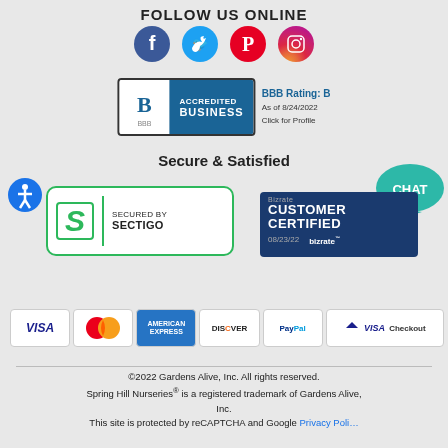FOLLOW US ONLINE
[Figure (illustration): Social media icons row: Facebook (blue circle), Twitter (blue circle), Pinterest (red circle), Instagram (gradient circle)]
[Figure (logo): BBB Accredited Business badge with rating B, As of 8/24/2022, Click for Profile]
Secure & Satisfied
[Figure (logo): Accessibility icon - blue circle with person figure]
[Figure (logo): Chat bubble icon in teal/green]
[Figure (logo): Secured by Sectigo badge with green S logo]
[Figure (logo): Bizrate Customer Certified badge, 08/23/22]
[Figure (illustration): Payment method icons: Visa, MasterCard, American Express, Discover, PayPal, Visa Checkout]
©2022 Gardens Alive, Inc. All rights reserved. Spring Hill Nurseries® is a registered trademark of Gardens Alive, Inc. This site is protected by reCAPTCHA and Google Privacy Poli…